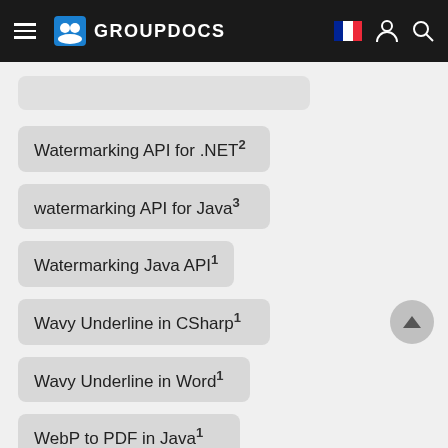GROUPDOCS
Watermarking API for .NET 2
watermarking API for Java 3
Watermarking Java API 1
Wavy Underline in CSharp 1
Wavy Underline in Word 1
WebP to PDF in Java 1